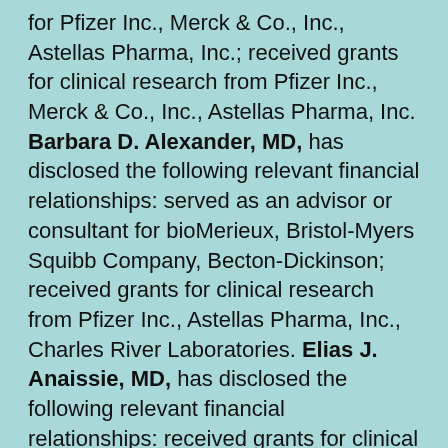for Pfizer Inc., Merck & Co., Inc., Astellas Pharma, Inc.; received grants for clinical research from Pfizer Inc., Merck & Co., Inc., Astellas Pharma, Inc. Barbara D. Alexander, MD, has disclosed the following relevant financial relationships: served as an advisor or consultant for bioMerieux, Bristol-Myers Squibb Company, Becton-Dickinson; received grants for clinical research from Pfizer Inc., Astellas Pharma, Inc., Charles River Laboratories. Elias J. Anaissie, MD, has disclosed the following relevant financial relationships: received grants for clinical research from Astellas Pharma, Inc., Millenium, Pfizer Inc. David R. Andes, MD, has disclosed the following relevant financial relationships: served as an advisor or consultant for Pfizer Inc., Merck & Co., Inc., Astellas; received grants for clinical research from Merck, Astellas Pharma, Inc. John W. Baddley, MD, MSPH, has